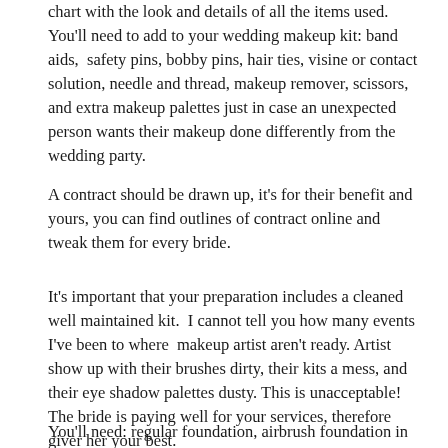chart with the look and details of all the items used. You'll need to add to your wedding makeup kit: band aids,  safety pins, bobby pins, hair ties, visine or contact solution, needle and thread, makeup remover, scissors, and extra makeup palettes just in case an unexpected person wants their makeup done differently from the wedding party.
A contract should be drawn up, it's for their benefit and yours, you can find outlines of contract online and tweak them for every bride.
It's important that your preparation includes a cleaned well maintained kit.  I cannot tell you how many events I've been to where  makeup artist aren't ready. Artist show up with their brushes dirty, their kits a mess, and their eye shadow palettes dusty. This is unacceptable! The bride is paying well for your services, therefore giver her your best.
You'll need: regular foundation, airbrush foundation in every range or enough colors to mix to custom create new colors